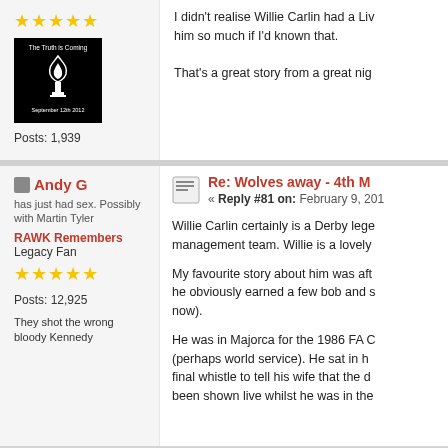[Figure (other): Five gold star rating icons]
[Figure (photo): Avatar image: black background with flame logo and text 'The Truth is Coming September 12th 2012']
Posts: 1,939
I didn't realise Willie Carlin had a Liv... him so much if I'd known that. That's a great story from a great nig...
[Figure (other): Small grey user icon square]
Andy G
has just had sex. Possibly with Martin Tyler
RAWK Remembers
Legacy Fan
[Figure (other): Five gold star rating icons]
Posts: 12,925
They shot the wrong bloody Kennedy
Re: Wolves away - 4th M...
« Reply #81 on: February 9, 201...
Willie Carlin certainly is a Derby lege... management team.  Willie is a lovely...
My favourite story about him was aft... he obviously earned a few bob and s... now).
He was in Majorca for the 1986 FA C... (perhaps world service).  He sat in h... final whistle to tell his wife that the d... been shown live whilst he was in the...